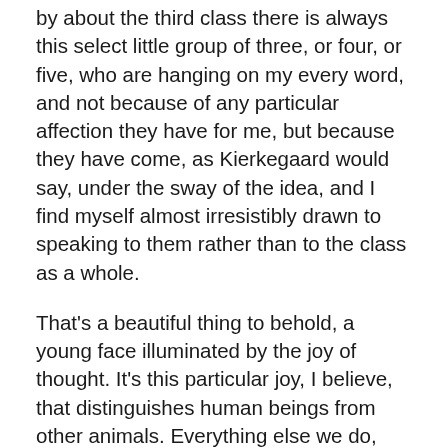by about the third class there is always this select little group of three, or four, or five, who are hanging on my every word, and not because of any particular affection they have for me, but because they have come, as Kierkegaard would say, under the sway of the idea, and I find myself almost irresistibly drawn to speaking to them rather than to the class as a whole.
That's a beautiful thing to behold, a young face illuminated by the joy of thought. It's this particular joy, I believe, that distinguishes human beings from other animals. Everything else we do, even making tools, would appear to distinguish us only quantitatively rather than qualitatively from other creatures. Only the capacity to become enraptured by thought appears completely unique to human beings. It's part of our distinctive beauty as a species, like speed, or agility, or even cunning